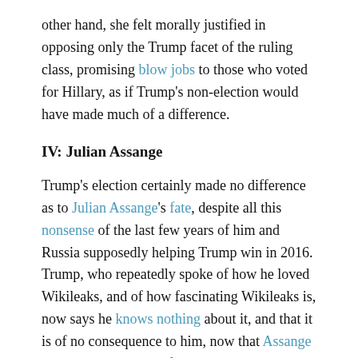other hand, she felt morally justified in opposing only the Trump facet of the ruling class, promising blow jobs to those who voted for Hillary, as if Trump's non-election would have made much of a difference.
IV: Julian Assange
Trump's election certainly made no difference as to Julian Assange's fate, despite all this nonsense of the last few years of him and Russia supposedly helping Trump win in 2016. Trump, who repeatedly spoke of how he loved Wikileaks, and of how fascinating Wikileaks is, now says he knows nothing about it, and that it is of no consequence to him, now that Assange has been carried out of the Ecuadorian embassy.